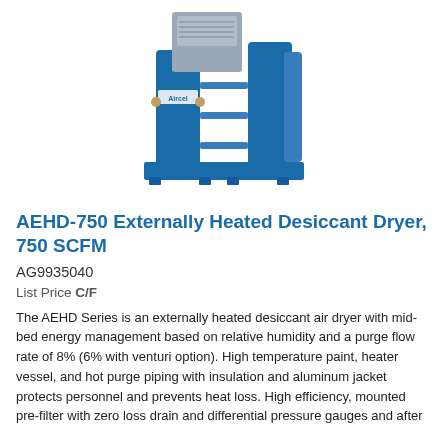[Figure (photo): Industrial blue and grey Aircel AEHD-750 externally heated desiccant dryer unit on a blue base frame, with two blue vertical towers, piping, and a grey control panel.]
AEHD-750 Externally Heated Desiccant Dryer, 750 SCFM
AG9935040
List Price C/F
The AEHD Series is an externally heated desiccant air dryer with mid-bed energy management based on relative humidity and a purge flow rate of 8% (6% with venturi option). High temperature paint, heater vessel, and hot purge piping with insulation and aluminum jacket protects personnel and prevents heat loss. High efficiency, mounted pre-filter with zero loss drain and differential pressure gauges and after